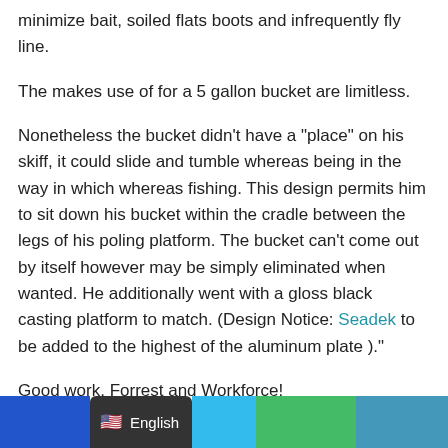minimize bait, soiled flats boots and infrequently fly line.
The makes use of for a 5 gallon bucket are limitless.
Nonetheless the bucket didn’t have a “place” on his skiff, it could slide and tumble whereas being in the way in which whereas fishing. This design permits him to sit down his bucket within the cradle between the legs of his poling platform. The bucket can't come out by itself however may be simply eliminated when wanted. He additionally went with a gloss black casting platform to match. (Design Notice: Seadek to be added to the highest of the aluminum plate ).”
Good work, Forrest and Workforce!
English